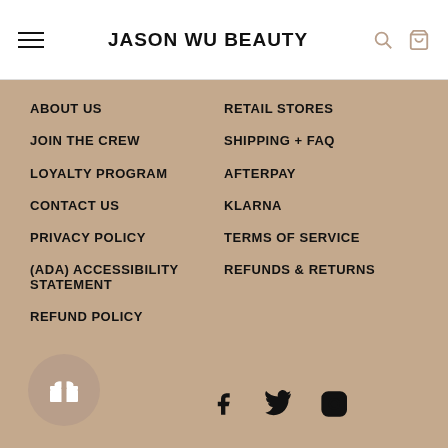JASON WU BEAUTY
ABOUT US
JOIN THE CREW
LOYALTY PROGRAM
CONTACT US
PRIVACY POLICY
(ADA) ACCESSIBILITY STATEMENT
REFUND POLICY
RETAIL STORES
SHIPPING + FAQ
AFTERPAY
KLARNA
TERMS OF SERVICE
REFUNDS & RETURNS
[Figure (illustration): Gift box icon button (loyalty/rewards) and social media icons: Facebook, Twitter, Instagram]